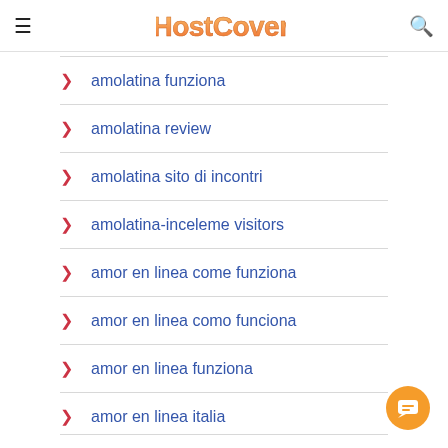HostCover
amolatina funziona
amolatina review
amolatina sito di incontri
amolatina-inceleme visitors
amor en linea come funziona
amor en linea como funciona
amor en linea funziona
amor en linea italia